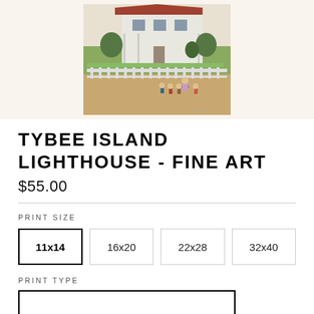[Figure (illustration): Painting of a house with white fence, garden, and figures of a woman with children walking outside]
TYBEE ISLAND LIGHTHOUSE - FINE ART
$55.00
PRINT SIZE
11x14  16x20  22x28  32x40
PRINT TYPE